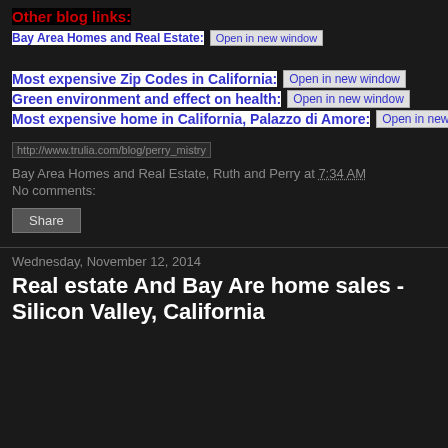Other blog links:
Bay Area Homes and Real Estate:   Open in new window
Most expensive Zip Codes in California:   Open in new window
Green environment and effect on health:   Open in new window
Most expensive home in California, Palazzo di Amore:   Open in new window
http://www.trulia.com/blog/perry_mistry
Bay Area Homes and Real Estate, Ruth and Perry at 7:34 AM
No comments:
Share
Wednesday, November 12, 2014
Real estate And Bay Are home sales - Silicon Valley, California